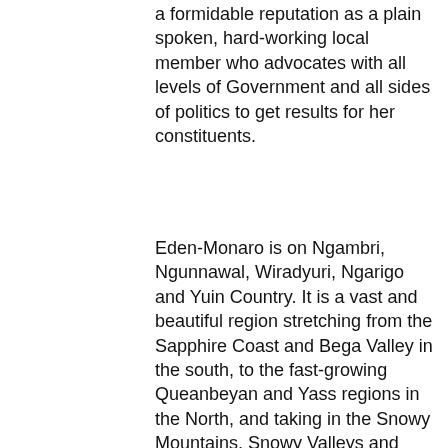a formidable reputation as a plain spoken, hard-working local member who advocates with all levels of Government and all sides of politics to get results for her constituents.
Eden-Monaro is on Ngambri, Ngunnawal, Wiradyuri, Ngarigo and Yuin Country. It is a vast and beautiful region stretching from the Sapphire Coast and Bega Valley in the south, to the fast-growing Queanbeyan and Yass regions in the North, and taking in the Snowy Mountains, Snowy Valleys and Monaro plains. Recent years have seen many of these communities battle devastating bushfires, floods and drought. Local tourism and businesses have also been hit hard by the Covid-19 pandemic.
As Mayor of the Bega Shire Council, Kristy advocated day and night for people through the darkest days of the Black Summer bushfires in 2019-20. Kristy brings that same